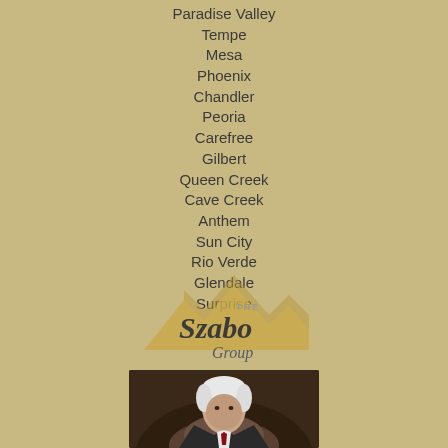Paradise Valley
Tempe
Mesa
Phoenix
Chandler
Peoria
Carefree
Gilbert
Queen Creek
Cave Creek
Anthem
Sun City
Rio Verde
Glendale
Surprise
[Figure (logo): The Szabo Group logo with mountain silhouette and gold/grey script text]
[Figure (photo): Portrait photo of an older man with white hair against dark background]